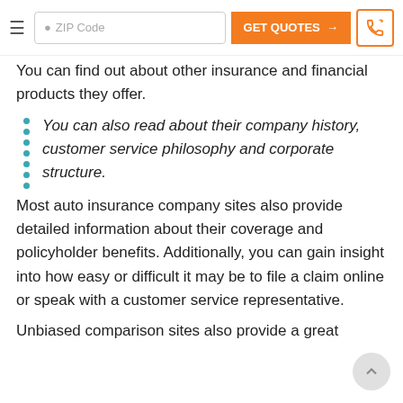ZIP Code | GET QUOTES → | phone
You can find out about other insurance and financial products they offer.
You can also read about their company history, customer service philosophy and corporate structure.
Most auto insurance company sites also provide detailed information about their coverage and policyholder benefits. Additionally, you can gain insight into how easy or difficult it may be to file a claim online or speak with a customer service representative.
Unbiased comparison sites also provide a great